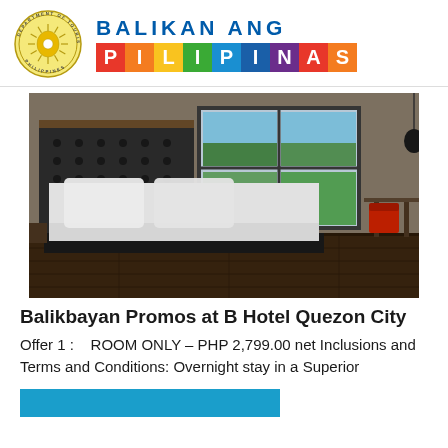[Figure (logo): Department of Tourism Philippines circular seal logo and Balikan Ang Pilipinas colorful brand text]
[Figure (photo): Hotel room photo showing a large bed with white pillows, tufted headboard, wooden floor, large windows with view of trees outside, desk and chair on the right]
Balikbayan Promos at B Hotel Quezon City
Offer 1 :    ROOM ONLY – PHP 2,799.00 net Inclusions and Terms and Conditions: Overnight stay in a Superior
[Figure (other): Blue bar/button at bottom of page (partially visible)]